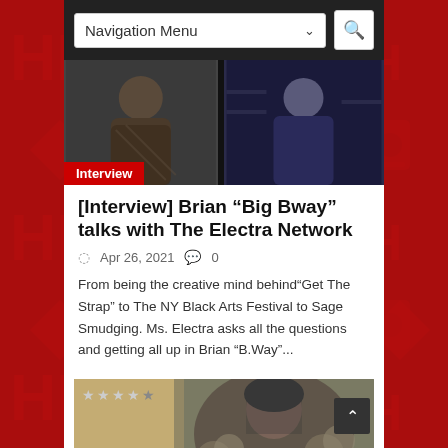Navigation Menu
[Figure (photo): Two video interview thumbnails side by side showing two men, dark background]
Interview
[Interview] Brian “Big Bway” talks with The Electra Network
Apr 26, 2021  0
From being the creative mind behind“Get The Strap” to The NY Black Arts Festival to Sage Smudging. Ms. Electra asks all the questions and getting all up in Brian “B.Way”...
[Figure (photo): Woman in fur coat outfit, 4.5 star rating shown in upper left]